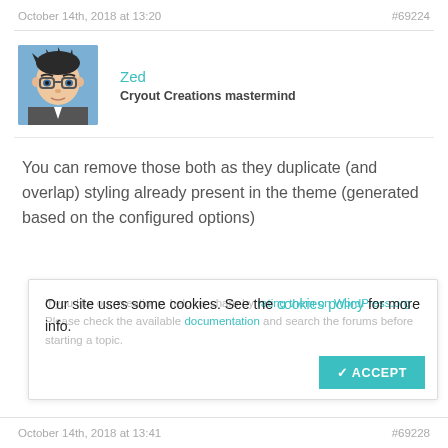October 14th, 2018 at 13:20    #69224
Zed
Cryout Creations mastermind
You can remove those both as they duplicate (and overlap) styling already present in the theme (generated based on the configured options)
If you like our creations, help us share by rating them on WordPress.org.
Please check the available documentation and search the forums before starting a topic.
Our site uses some cookies. See the cookies policy for more info.
October 14th, 2018 at 13:41    #69228